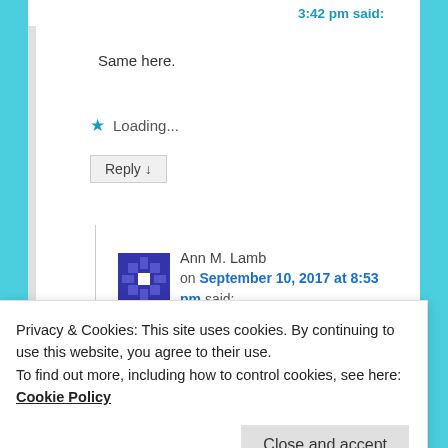3:42 pm said:
Same here.
Loading...
Reply ↓
Ann M. Lamb
on September 10, 2017 at 8:53 pm said:
I got mine from Equifax and Experian byt following your link but
Privacy & Cookies: This site uses cookies. By continuing to use this website, you agree to their use.
To find out more, including how to control cookies, see here: Cookie Policy
Close and accept